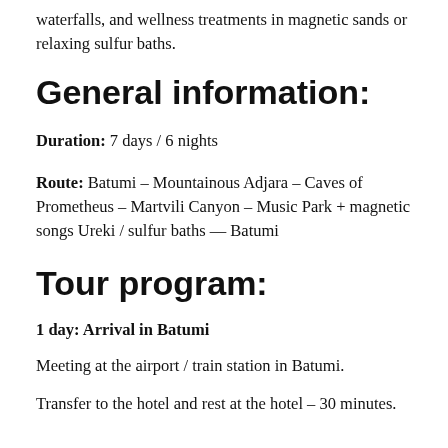waterfalls, and wellness treatments in magnetic sands or relaxing sulfur baths.
General information:
Duration: 7 days / 6 nights
Route: Batumi – Mountainous Adjara – Caves of Prometheus – Martvili Canyon – Music Park + magnetic songs Ureki / sulfur baths — Batumi
Tour program:
1 day: Arrival in Batumi
Meeting at the airport / train station in Batumi.
Transfer to the hotel and rest at the hotel – 30 minutes.